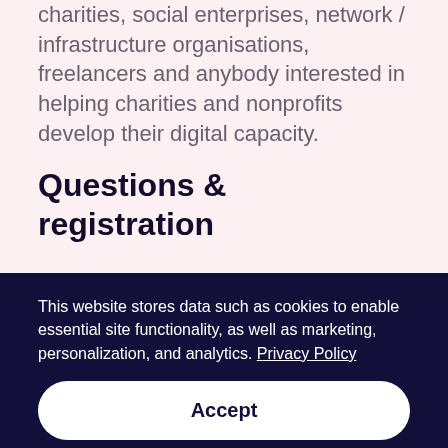charities, social enterprises, network / infrastructure organisations, freelancers and anybody interested in helping charities and nonprofits develop their digital capacity.
Questions & registration
This website stores data such as cookies to enable essential site functionality, as well as marketing, personalization, and analytics. Privacy Policy
Accept